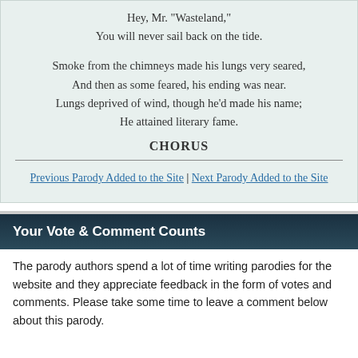Hey, Mr. "Wasteland,"
You will never sail back on the tide.
Smoke from the chimneys made his lungs very seared,
And then as some feared, his ending was near.
Lungs deprived of wind, though he'd made his name;
He attained literary fame.
CHORUS
Previous Parody Added to the Site | Next Parody Added to the Site
Your Vote & Comment Counts
The parody authors spend a lot of time writing parodies for the website and they appreciate feedback in the form of votes and comments. Please take some time to leave a comment below about this parody.